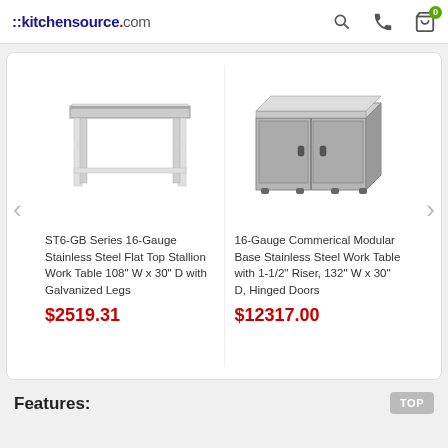::kitchensource.com
[Figure (screenshot): Carousel of two product listings: (1) stainless steel work table illustration, (2) modular base cabinet illustration]
ST6-GB Series 16-Gauge Stainless Steel Flat Top Stallion Work Table 108" W x 30" D with Galvanized Legs
$2519.31
16-Gauge Commerical Modular Base Stainless Steel Work Table with 1-1/2" Riser, 132" W x 30" D, Hinged Doors
$12317.00
Features: